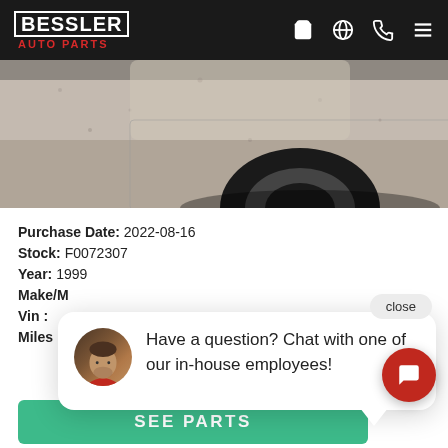Bessler Auto Parts - navigation bar with cart, globe, phone, and menu icons
[Figure (photo): Partial view of a vehicle undercarriage or wheel area photographed from above, showing a tire and ground.]
Purchase Date: 2022-08-16
Stock: F0072307
Year: 1999
Make/M[odel: partially hidden by chat popup]
Vin : [partially hidden by chat popup]
Miles : [partially hidden by chat popup]
close
Have a question? Chat with one of our in-house employees!
SEE PARTS